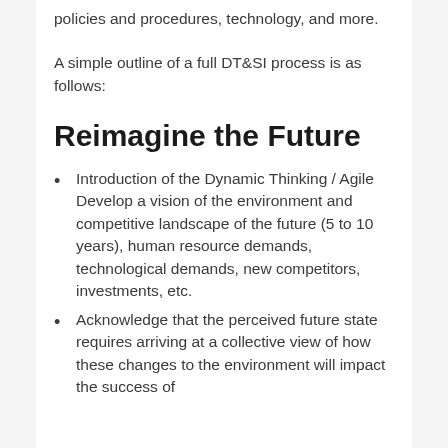policies and procedures, technology, and more.
A simple outline of a full DT&SI process is as follows:
Reimagine the Future
Introduction of the Dynamic Thinking / Agile Develop a vision of the environment and competitive landscape of the future (5 to 10 years), human resource demands, technological demands, new competitors, investments, etc.
Acknowledge that the perceived future state requires arriving at a collective view of how these changes to the environment will impact the success of